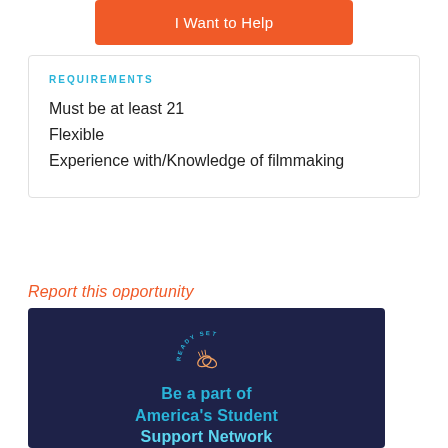I Want to Help
REQUIREMENTS
Must be at least 21
Flexible
Experience with/Knowledge of filmmaking
Report this opportunity
[Figure (logo): Ready Set logo with hand clap icon on dark navy background with text 'Be a part of America's Student Support Network']